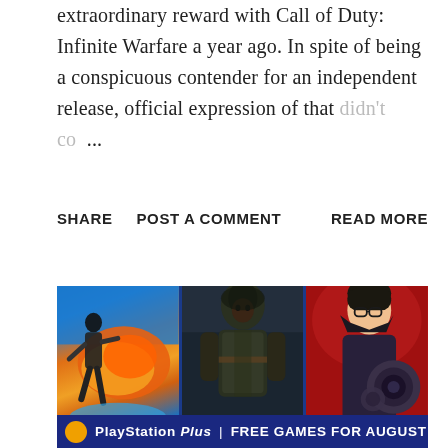extraordinary reward with Call of Duty: Infinite Warfare a year ago. In spite of being a conspicuous contender for an independent release, official expression of that didn't co ...
SHARE   POST A COMMENT   READ MORE
[Figure (photo): Three video game promotional images side by side on a blue background banner for PlayStation Plus Free Games for August. Left panel shows an action character from Just Cause style game with explosions. Middle panel shows an assassin in a hood from Assassin's Creed Black Flag style. Right panel shows a stylized illustrated character with glasses. Bottom bar reads 'PlayStation Plus | FREE GAMES FOR AUGUST 2...']